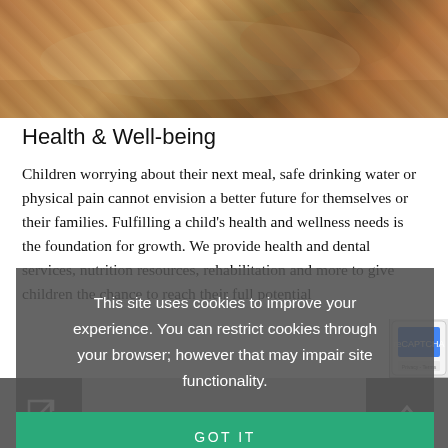[Figure (photo): Photo of food/meal being prepared, warm brown and orange tones, appears to show hands and food items on a surface]
Health & Well-being
Children worrying about their next meal, safe drinking water or physical pain cannot envision a better future for themselves or their families. Fulfilling a child's health and wellness needs is the foundation for growth. We provide health and dental services, nutrition resources, rehabilitation and more to give children the chance to reach their full potential
This site uses cookies to improve your experience. You can restrict cookies through your browser; however that may impair site functionality.
GOT IT